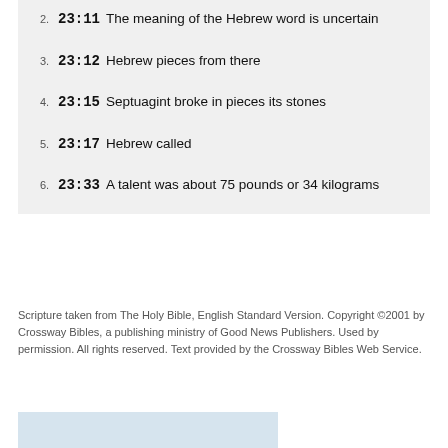2. 23:11 The meaning of the Hebrew word is uncertain
3. 23:12 Hebrew pieces from there
4. 23:15 Septuagint broke in pieces its stones
5. 23:17 Hebrew called
6. 23:33 A talent was about 75 pounds or 34 kilograms
Scripture taken from The Holy Bible, English Standard Version. Copyright ©2001 by Crossway Bibles, a publishing ministry of Good News Publishers. Used by permission. All rights reserved. Text provided by the Crossway Bibles Web Service.
[Figure (photo): Partial image visible at the bottom of the page, appears to be a book or Bible related image]